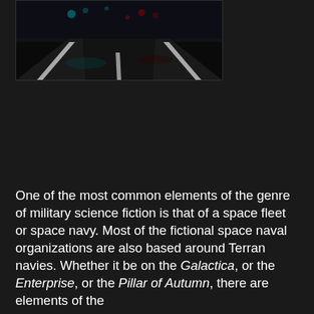[Figure (photo): A dark nighttime scene of a highway or road with lane markings visible, lit by colored lights (teal/cyan and red), appearing to be from a science fiction video game or film.]
One of the most common elements of the genre of military science fiction is that of a space fleet or space navy. Most of the fictional space naval organizations are also based around Terran navies. Whether it be on the Galactica, or the Enterprise, or the Pillar of Autumn, there are elements of the